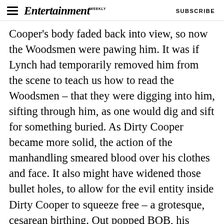Entertainment Weekly — SUBSCRIBE
Cooper's body faded back into view, so now the Woodsmen were pawing him. It was if Lynch had temporarily removed him from the scene to teach us how to read the Woodsmen – that they were digging into him, sifting through him, as one would dig and sift for something buried. As Dirty Cooper became more solid, the action of the manhandling smeared blood over his clothes and face. It also might have widened those bullet holes, to allow for the evil entity inside Dirty Cooper to squeeze free – a grotesque, cesarean birthing. Out popped BOB, his scruffy, sneering mug encased within a gray slimy sac, a corrupt chrysalis. That's one way to perform an exorcism.